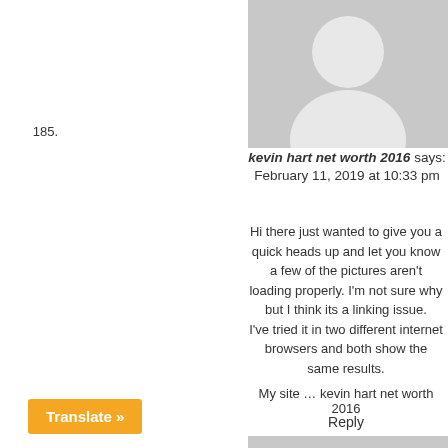[Figure (illustration): Gray placeholder avatar image at top right of comment]
185.
kevin hart net worth 2016 says:
February 11, 2019 at 10:33 pm
Hi there just wanted to give you a quick heads up and let you know a few of the pictures aren’t loading properly. I’m not sure why but I think its a linking issue.
I’ve tried it in two different internet browsers and both show the same results.
My site … kevin hart net worth 2016
Reply
[Figure (illustration): Gray placeholder avatar image for next comment]
Translate »